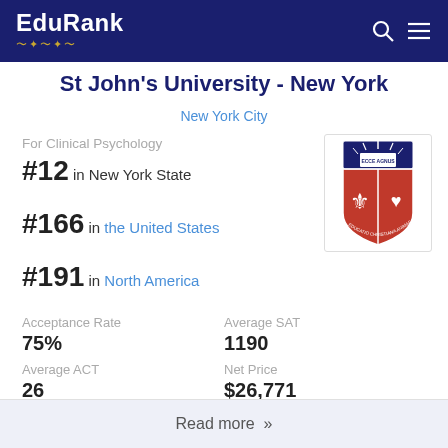EduRank
St John's University - New York
New York City
For Clinical Psychology
#12 in New York State
#166 in the United States
#191 in North America
[Figure (logo): St John's University shield logo — red and dark shield with fleur-de-lis, heart, and Latin text]
Acceptance Rate
75%
Average SAT
1190
Average ACT
26
Net Price
$26,771
Read more »